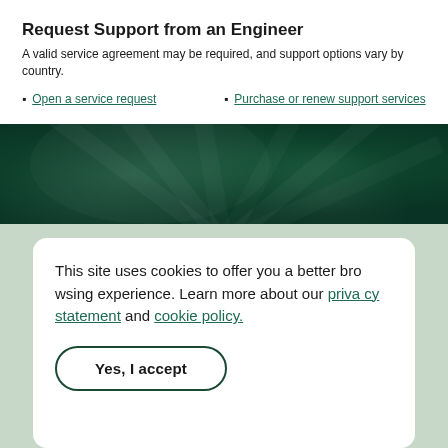Request Support from an Engineer
A valid service agreement may be required, and support options vary by country.
Open a service request
Purchase or renew support services
[Figure (photo): Dark green decorative banner with abstract leaf/radial pattern]
This site uses cookies to offer you a better browsing experience. Learn more about our privacy statement and cookie policy.